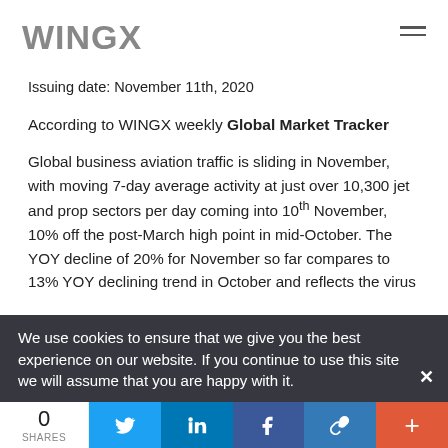WINGX
Issuing date: November 11th, 2020
According to WINGX weekly Global Market Tracker
Global business aviation traffic is sliding in November, with moving 7-day average activity at just over 10,300 jet and prop sectors per day coming into 10th November, 10% off the post-March high point in mid-October. The YOY decline of 20% for November so far compares to 13% YOY declining trend in October and reflects the virus
We use cookies to ensure that we give you the best experience on our website. If you continue to use this site we will assume that you are happy with it.